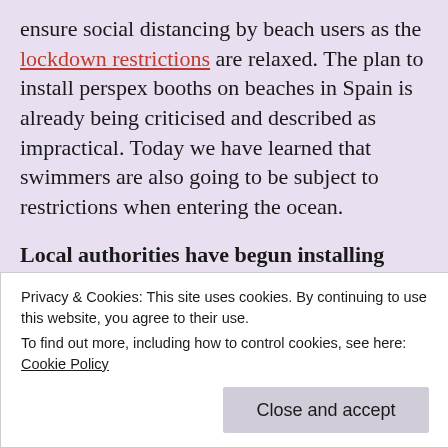ensure social distancing by beach users as the lockdown restrictions are relaxed. The plan to install perspex booths on beaches in Spain is already being criticised and described as impractical. Today we have learned that swimmers are also going to be subject to restrictions when entering the ocean.
Local authorities have begun installing ticket distribution points close to the sea. Our anonymous source Anne Hernandez, self-employed, says “I’ve learned that there will be a ticketing system used to control the number of swimmers in the sea. When you get to the beach, you take a numbered ticket...
Privacy & Cookies: This site uses cookies. By continuing to use this website, you agree to their use.
To find out more, including how to control cookies, see here: Cookie Policy